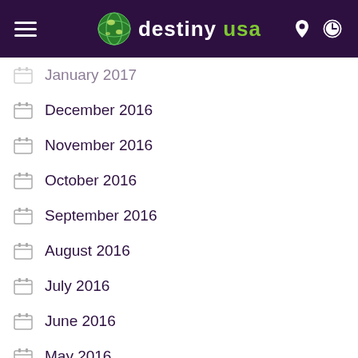destiny usa
January 2017
December 2016
November 2016
October 2016
September 2016
August 2016
July 2016
June 2016
May 2016
April 2016
March 2016
CATEGORIES
Entertainment
Featured
What's Happening